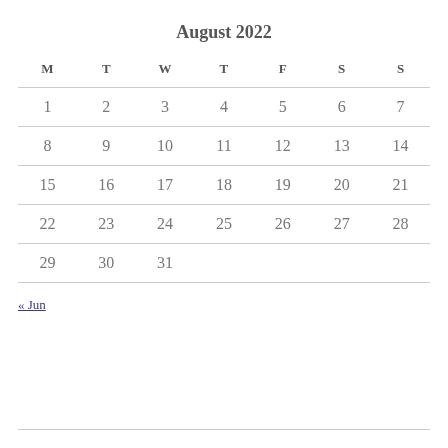August 2022
| M | T | W | T | F | S | S |
| --- | --- | --- | --- | --- | --- | --- |
| 1 | 2 | 3 | 4 | 5 | 6 | 7 |
| 8 | 9 | 10 | 11 | 12 | 13 | 14 |
| 15 | 16 | 17 | 18 | 19 | 20 | 21 |
| 22 | 23 | 24 | 25 | 26 | 27 | 28 |
| 29 | 30 | 31 |  |  |  |  |
« Jun